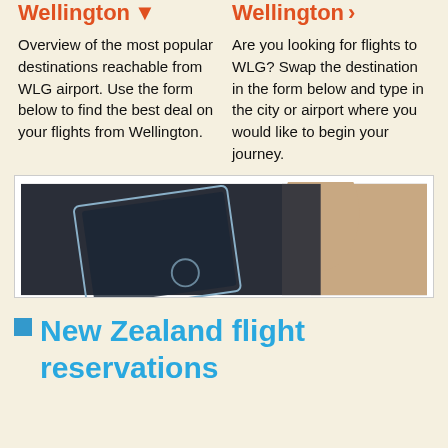Wellington ▼
Wellington ›
Overview of the most popular destinations reachable from WLG airport. Use the form below to find the best deal on your flights from Wellington.
Are you looking for flights to WLG? Swap the destination in the form below and type in the city or airport where you would like to begin your journey.
[Figure (photo): Person holding or using a tablet device, dark background visible]
New Zealand flight reservations